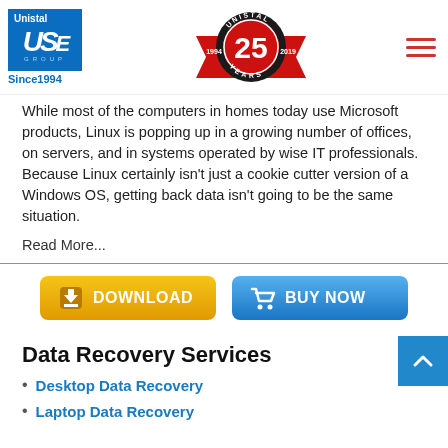[Figure (logo): Unistal USE Group logo with blue background and Since 1994 text, plus 25 years anniversary badge (1994-2019)]
While most of the computers in homes today use Microsoft products, Linux is popping up in a growing number of offices, on servers, and in systems operated by wise IT professionals. Because Linux certainly isn't just a cookie cutter version of a Windows OS, getting back data isn't going to be the same situation.
Read More...
[Figure (other): DOWNLOAD button (yellow/gold) and BUY NOW button (blue)]
Data Recovery Services
Desktop Data Recovery
Laptop Data Recovery